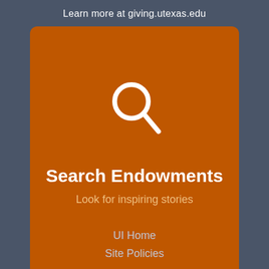Learn more at giving.utexas.edu
[Figure (illustration): White magnifying glass icon on orange background]
Search Endowments
Look for inspiring stories
[Figure (other): Scroll-to-top button with upward caret arrow]
UI Home
Site Policies